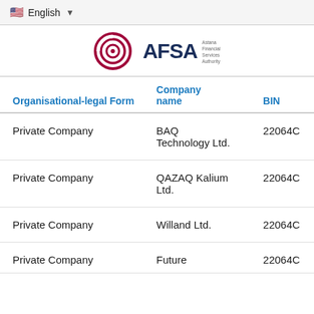🇺🇸 English ▼
[Figure (logo): AFSA - Astana Financial Services Authority logo with circular emblem and text]
| Organisational-legal Form | Company name | BIN |
| --- | --- | --- |
| Private Company | BAQ Technology Ltd. | 22064C |
| Private Company | QAZAQ Kalium Ltd. | 22064C |
| Private Company | Willand Ltd. | 22064C |
| Private Company | Future | 22064C |